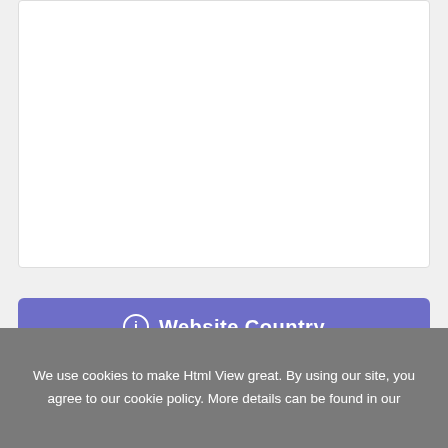[Figure (screenshot): White card/panel area at the top of the page, mostly empty content area with light border]
Website Country
[Figure (screenshot): Bottom portion of a white card panel]
We use cookies to make Html View great. By using our site, you agree to our cookie policy. More details can be found in our